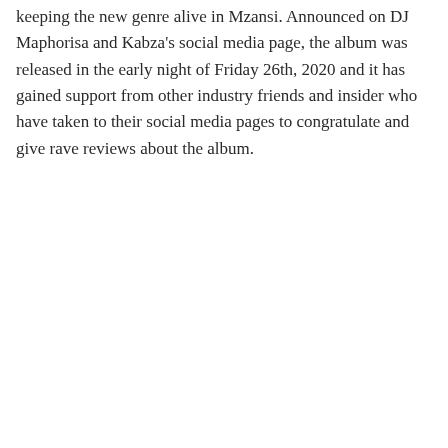keeping the new genre alive in Mzansi. Announced on DJ Maphorisa and Kabza's social media page, the album was released in the early night of Friday 26th, 2020 and it has gained support from other industry friends and insider who have taken to their social media pages to congratulate and give rave reviews about the album.